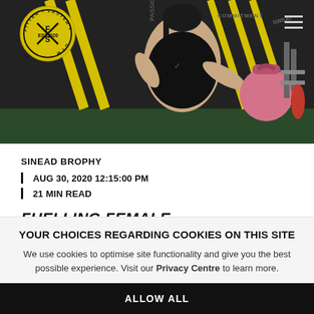[Figure (photo): A woman in a black Nike top performing a kettlebell exercise in a gym with yellow and black warning tape decorations on walls. An FFS (Fitter Faster Stronger) Gym circular yellow logo is overlaid in the top-left corner.]
SINEAD BROPHY
| AUG 30, 2020 12:15:00 PM
| 21 MIN READ
FUELLING FEMALE
YOUR CHOICES REGARDING COOKIES ON THIS SITE
We use cookies to optimise site functionality and give you the best possible experience. Visit our Privacy Centre to learn more.
ALLOW ALL